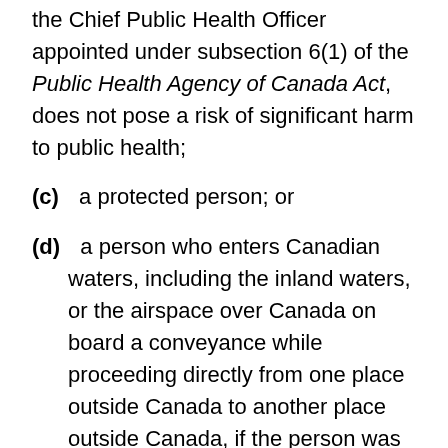the Chief Public Health Officer appointed under subsection 6(1) of the Public Health Agency of Canada Act, does not pose a risk of significant harm to public health;
(c)  a protected person; or
(d)  a person who enters Canadian waters, including the inland waters, or the airspace over Canada on board a conveyance while proceeding directly from one place outside Canada to another place outside Canada, if the person was continuously on board that conveyance while in Canada and
(i)  in the case of a conveyance other than an